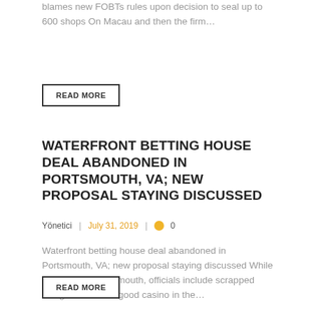blames new FOBTs rules upon decision to seal up to 600 shops On Macau and then the firm…
READ MORE
WATERFRONT BETTING HOUSE DEAL ABANDONED IN PORTSMOUTH, VA; NEW PROPOSAL STAYING DISCUSSED
Yönetici | July 31, 2019 | 0
Waterfront betting house deal abandoned in Portsmouth, VA; new proposal staying discussed While in the city of Portsmouth, officials include scrapped designs to build a good casino in the…
READ MORE